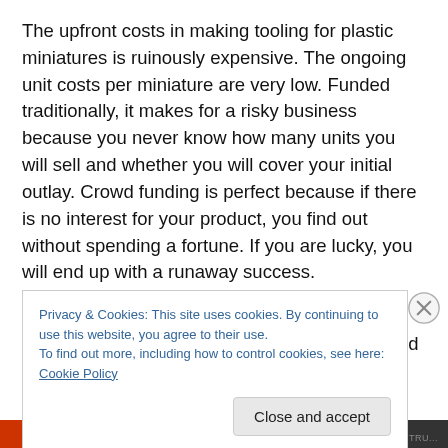The upfront costs in making tooling for plastic miniatures is ruinously expensive. The ongoing unit costs per miniature are very low. Funded traditionally, it makes for a risky business because you never know how many units you will sell and whether you will cover your initial outlay. Crowd funding is perfect because if there is no interest for your product, you find out without spending a fortune. If you are lucky, you will end up with a runaway success.
I believe that crowd funding could offer a much more efficient mechanism for companies to build the right
Privacy & Cookies: This site uses cookies. By continuing to use this website, you agree to their use.
To find out more, including how to control cookies, see here: Cookie Policy